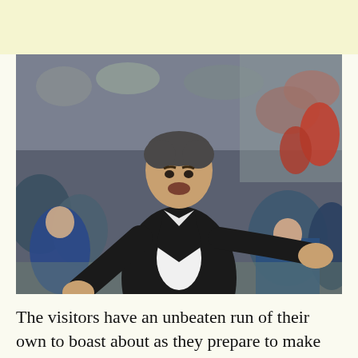[Figure (photo): A football manager in a black suit and white shirt gesturing with both hands raised, standing on the touchline during a match, with a blurred crowd in the background.]
The visitors have an unbeaten run of their own to boast about as they prepare to make the daunting